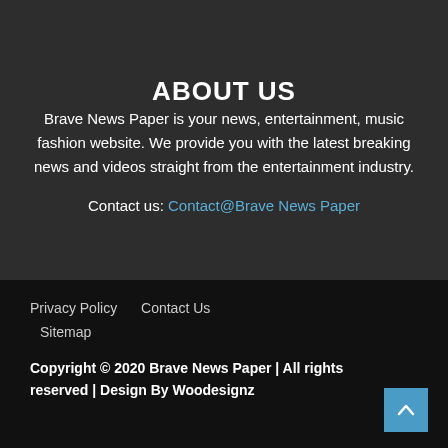ABOUT US
Brave News Paper is your news, entertainment, music fashion website. We provide you with the latest breaking news and videos straight from the entertainment industry.
Contact us: Contact@Brave News Paper
Privacy Policy   Contact Us
Sitemap
Copyright © 2020 Brave News Paper | All rights reserved | Design By Woodesignz